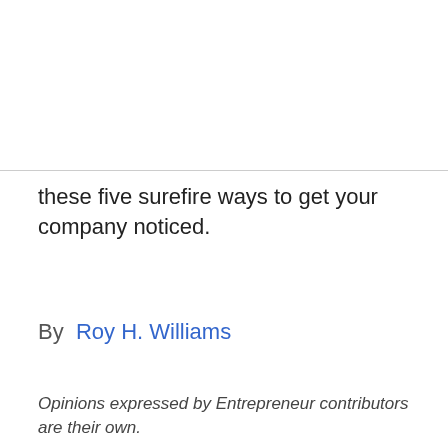these five surefire ways to get your company noticed.
By  Roy H. Williams
Opinions expressed by Entrepreneur contributors are their own.
A question I'm often asked is, "What are the TV shows, cable networks and radio formats that rich people prefer?" Unfortunately, that's a question that has no answer. The simple